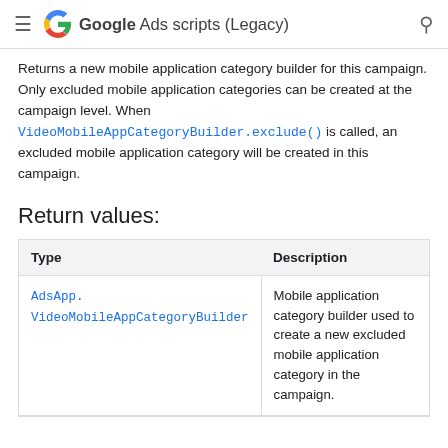Google Ads scripts (Legacy)
Returns a new mobile application category builder for this campaign. Only excluded mobile application categories can be created at the campaign level. When VideoMobileAppCategoryBuilder.exclude() is called, an excluded mobile application category will be created in this campaign.
Return values:
| Type | Description |
| --- | --- |
| AdsApp.VideoMobileAppCategoryBuilder | Mobile application category builder used to create a new excluded mobile application category in the campaign. |